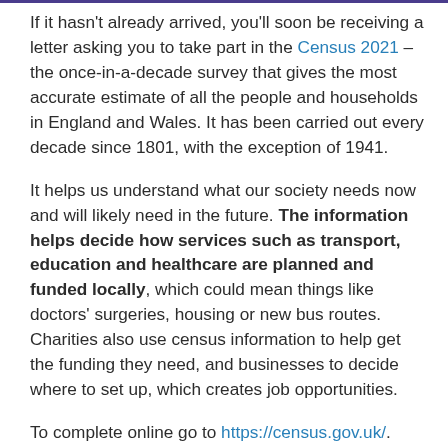If it hasn't already arrived, you'll soon be receiving a letter asking you to take part in the Census 2021 – the once-in-a-decade survey that gives the most accurate estimate of all the people and households in England and Wales. It has been carried out every decade since 1801, with the exception of 1941.
It helps us understand what our society needs now and will likely need in the future. The information helps decide how services such as transport, education and healthcare are planned and funded locally, which could mean things like doctors' surgeries, housing or new bus routes. Charities also use census information to help get the funding they need, and businesses to decide where to set up, which creates job opportunities.
To complete online go to https://census.gov.uk/. You should complete your census form on Sunday 21 March